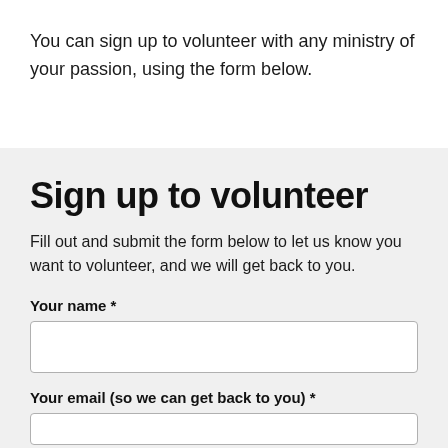You can sign up to volunteer with any ministry of your passion, using the form below.
Sign up to volunteer
Fill out and submit the form below to let us know you want to volunteer, and we will get back to you.
Your name *
Your email (so we can get back to you) *